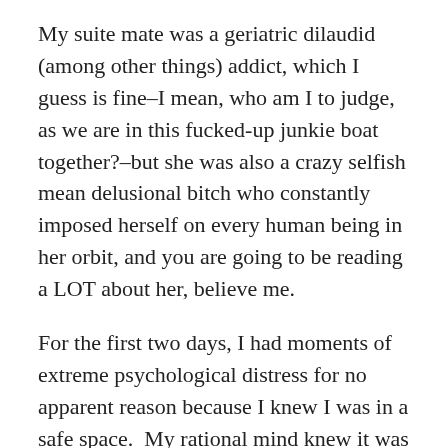My suite mate was a geriatric dilaudid (among other things) addict, which I guess is fine–I mean, who am I to judge, as we are in this fucked-up junkie boat together?–but she was also a crazy selfish mean delusional bitch who constantly imposed herself on every human being in her orbit, and you are going to be reading a LOT about her, believe me.
For the first two days, I had moments of extreme psychological distress for no apparent reason because I knew I was in a safe space.  My rational mind knew it was because my brain was fucked. Otherwise I was lucid (except for the zillion drugs they put me on) except that I kept having nightmares that Judge Judy was going to be my nurse and scream at me for being stupid and fucking up my life.  "Judgement for the Defendant!"  Who